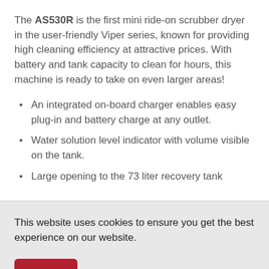The AS530R is the first mini ride-on scrubber dryer in the user-friendly Viper series, known for providing high cleaning efficiency at attractive prices. With battery and tank capacity to clean for hours, this machine is ready to take on even larger areas!
An integrated on-board charger enables easy plug-in and battery charge at any outlet.
Water solution level indicator with volume visible on the tank.
Large opening to the 73 liter recovery tank
This website uses cookies to ensure you get the best experience on our website.